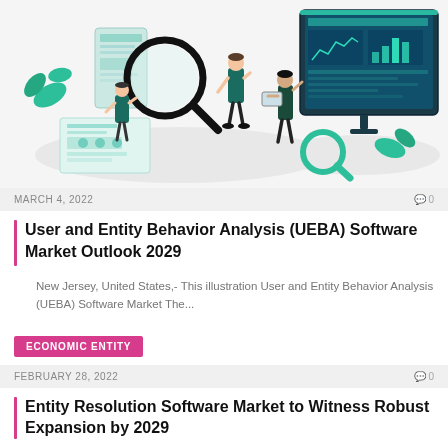[Figure (illustration): Isometric illustration showing business analytics: a person with a magnifying glass over documents/charts on the left, and a person pointing at a large dashboard/monitor with charts and graphs on the right. Teal and white color scheme with decorative elements.]
MARCH 4, 2022	🗨 0
User and Entity Behavior Analysis (UEBA) Software Market Outlook 2029
New Jersey, United States,- This illustration User and Entity Behavior Analysis (UEBA) Software Market The...
ECONOMIC ENTITY
FEBRUARY 28, 2022	🗨 0
Entity Resolution Software Market to Witness Robust Expansion by 2029